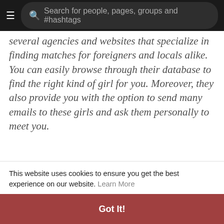Search for people, pages, groups and #hashtags
several agencies and websites that specialize in finding matches for foreigners and locals alike. You can easily browse through their database to find the right kind of girl for you. Moreover, they also provide you with the option to send many emails to these girls and ask them personally to meet you.
Most Call Girls in Ajmer are extremely conservative and shy. In fact, they avoid any sort of publicity and thus, are not very popular among the community. However, there are a few who are more outgoing and would love to interact with foreigners. This is why they do not hesitate to come forward and take up a job. If
This website uses cookies to ensure you get the best experience on our website. Learn More
Got It!